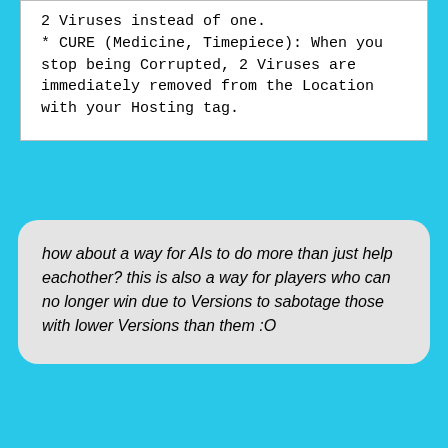2 Viruses instead of one.
* CURE (Medicine, Timepiece): When you stop being Corrupted, 2 Viruses are immediately removed from the Location with your Hosting tag.
how about a way for AIs to do more than just help eachother? this is also a way for players who can no longer win due to Versions to sabotage those with lower Versions than them :O
POSTED BY LEMON AT 28 APR 2021 00:54:00 UTC  Comments (6)
PROPOSAL: NUH-UH